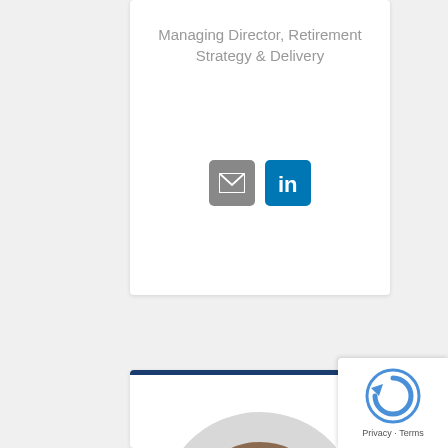Managing Director, Retirement Strategy & Delivery
[Figure (illustration): Email icon button (grey) and LinkedIn icon button (blue)]
[Figure (photo): Circular headshot photo of Peter Lohri, a man in a dark suit with a red-striped tie, smiling]
Peter Lohri
COO